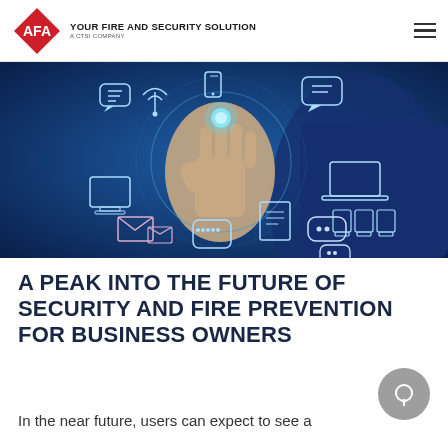AFA - YOUR FIRE AND SECURITY SOLUTION - A CTSI COMPANY
[Figure (photo): A person in a business suit touching a glowing digital interface with icons representing various communication and technology concepts — chat bubbles, mobile devices, laptops, email envelopes, desktop computers — floating around the hand against a blue-toned background.]
A PEAK INTO THE FUTURE OF SECURITY AND FIRE PREVENTION FOR BUSINESS OWNERS
In the near future, users can expect to see a